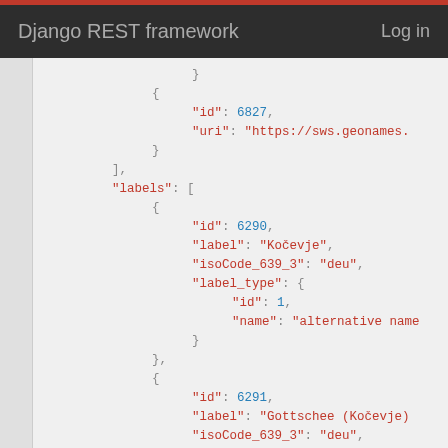Django REST framework   Log in
JSON code snippet showing API response with id: 6827, uri: https://sws.geonames., labels array with objects: id 6290 label Kočevje isoCode_639_3 deu label_type id 1 name alternative name; id 6291 label Gottschee (Kočevje) isoCode_639_3 deu label_type id 578 name MRP PrintIndex p